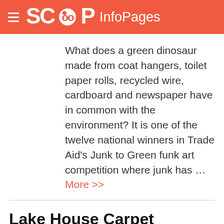SCOOP InfoPages
What does a green dinosaur made from coat hangers, toilet paper rolls, recycled wire, cardboard and newspaper have in common with the environment? It is one of the twelve national winners in Trade Aid's Junk to Green funk art competition where junk has … More >>
Lake House Carpet Exhibition – Tales From Tibet
Friday, 20 June 2008, 1:21 pm | Trade Aid
Illustrated with exquisite hand-knotted threads, the Tales from Tibet Exhibition and Sale features the traditional